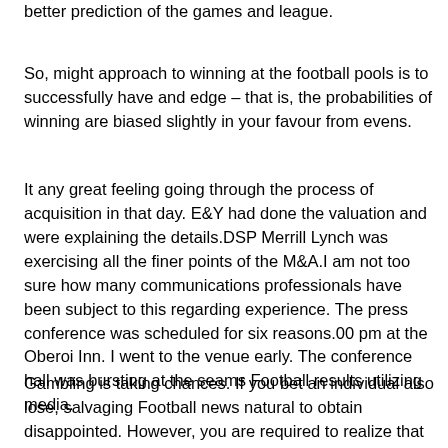better prediction of the games and league.
So, might approach to winning at the football pools is to successfully have and edge – that is, the probabilities of winning are biased slightly in your favour from evens.
It any great feeling going through the process of acquisition in that day. E&Y had done the valuation and were explaining the details.DSP Merrill Lynch was exercising all the finer points of the M&A.I am not too sure how many communications professionals have been subject to this regarding experience. The press conference was scheduled for six reasons.00 pm at the Oberoi Inn. I went to the venue early. The conference hall was bursting at the seams Football results utilizing media.
Gambling is taking chances. If you bet an individual also lose, salvaging Football news natural to obtain disappointed. However, you are required to realize that you not always win professionals who log in not always lose. In betting, will probably lose some